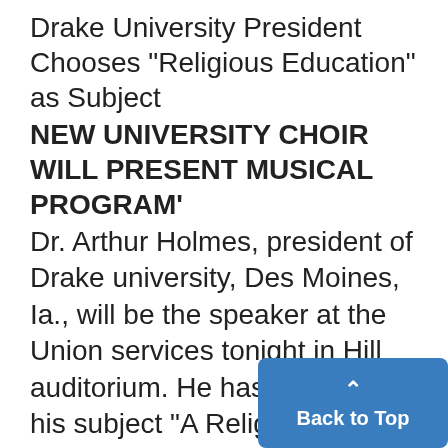Drake University President Chooses "Religious Education" as Subject
NEW UNIVERSITY CHOIR WILL PRESENT MUSICAL PROGRAM'
Dr. Arthur Holmes, president of Drake university, Des Moines, Ia., will be the speaker at the Union services tonight in Hill auditorium. He has chosen for his subject "A Religious Education".
Dr. Holmes is a widely known psy-chologist, having been an instru-ctor that subject at the University ,o